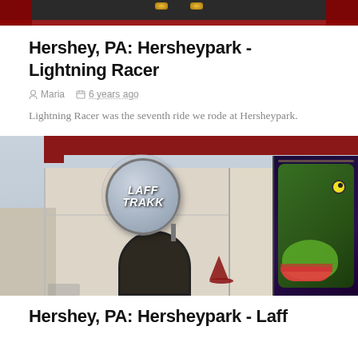[Figure (photo): Top portion of a photo showing what appears to be an amusement park ride structure with red elements and ceiling lights against a dark background]
Hershey, PA: Hersheypark - Lightning Racer
Maria   6 years ago
Lightning Racer was the seventh ride we rode at Hersheypark.
[Figure (photo): Photo of the Laff Trakk ride entrance at Hersheypark, showing a building facade with a circular logo sign reading 'LAFF TRAKK', a dark arched doorway, and colorful cartoon artwork on the right side featuring a green crocodile. A witch hat decoration is visible near the entrance.]
Hershey, PA: Hersheypark - Laff